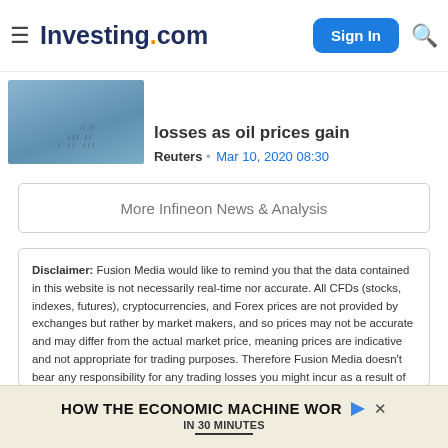Investing.com
[Figure (photo): Article thumbnail showing birds flying over blue water]
losses as oil prices gain
Reuters • Mar 10, 2020 08:30
More Infineon News & Analysis
Disclaimer: Fusion Media would like to remind you that the data contained in this website is not necessarily real-time nor accurate. All CFDs (stocks, indexes, futures), cryptocurrencies, and Forex prices are not provided by exchanges but rather by market makers, and so prices may not be accurate and may differ from the actual market price, meaning prices are indicative and not appropriate for trading purposes. Therefore Fusion Media doesn't bear any responsibility for any trading losses you might incur as a result of using this data.
Fusion Media or anyone involved with Fusion Media will not accept any liability for loss or damage as a result of reliance on the information including data, quotes, charts and buy/sell signals contained within this website. Please be fully informed regarding the risks and costs associated with trading the financial markets, it is one of the riskiest
[Figure (infographic): Ad banner: HOW THE ECONOMIC MACHINE WORKS IN 30 MINUTES]